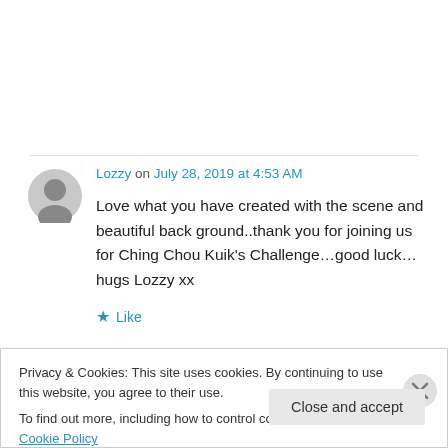Lozzy on July 28, 2019 at 4:53 AM
Love what you have created with the scene and beautiful back ground..thank you for joining us for Ching Chou Kuik's Challenge…good luck…hugs Lozzy xx
★ Like
Privacy & Cookies: This site uses cookies. By continuing to use this website, you agree to their use. To find out more, including how to control cookies, see here: Cookie Policy
Close and accept